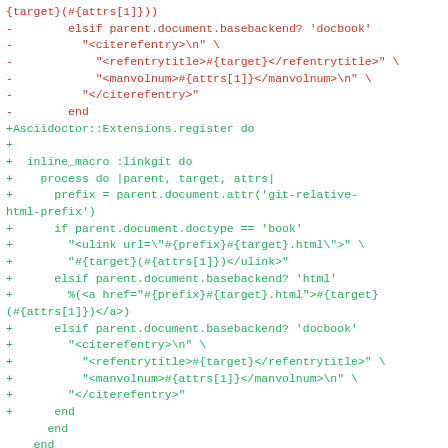Code diff showing removal of old linkgit macro implementation (red/minus lines) and addition of new Asciidoctor::Extensions.register block (green/plus lines) with inline_macro :linkgit do handler supporting html and docbook backends.